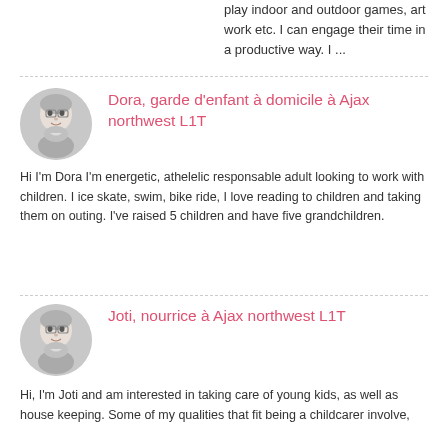play indoor and outdoor games, art work etc. I can engage their time in a productive way. I ...
Dora, garde d'enfant à domicile à Ajax northwest L1T
Hi I'm Dora I'm energetic, athelelic responsable adult looking to work with children. I ice skate, swim, bike ride, I love reading to children and taking them on outing. I've raised 5 children and have five grandchildren.
Joti, nourrice à Ajax northwest L1T
Hi, I'm Joti and am interested in taking care of young kids, as well as house keeping. Some of my qualities that fit being a childcarer involve,